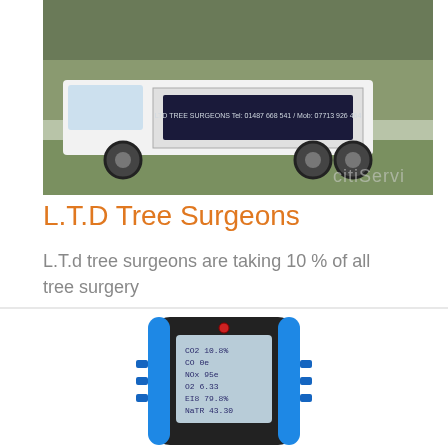[Figure (photo): A white flatbed truck/van with company branding parked on grass in front of trees. The vehicle appears to be a tree surgery company van. A watermark reading 'citiServi' is partially visible in the lower right of the image.]
L.T.D Tree Surgeons
L.T.d tree surgeons are taking 10 % of all tree surgery
[Figure (photo): A handheld electronic measuring device with a blue and black casing, displaying a digital readout screen showing various measurements including CO2, CO, NOx, O2, EI8, NaTR values.]